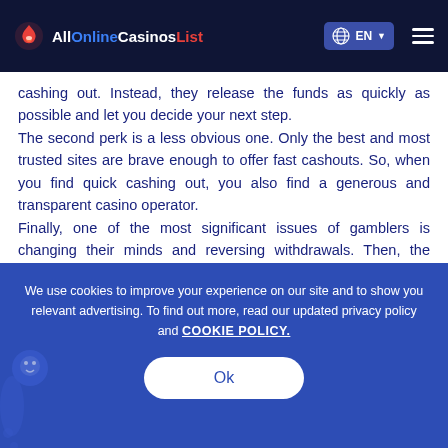AllOnlineCasinosList | EN
cashing out. Instead, they release the funds as quickly as possible and let you decide your next step. The second perk is a less obvious one. Only the best and most trusted sites are brave enough to offer fast cashouts. So, when you find quick cashing out, you also find a generous and transparent casino operator. Finally, one of the most significant issues of gamblers is changing their minds and reversing withdrawals. Then, the money is spent, and no gains are made. Statistically, that doesn't happen when the cashout is instantly completed at fast payout casinos.
We use cookies to improve your experience on our site and to show you relevant advertising. To find out more, read our updated privacy policy and COOKIE POLICY.
Ok